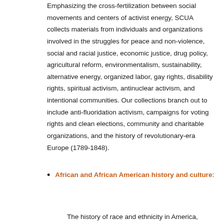Emphasizing the cross-fertilization between social movements and centers of activist energy, SCUA collects materials from individuals and organizations involved in the struggles for peace and non-violence, social and racial justice, economic justice, drug policy, agricultural reform, environmentalism, sustainability, alternative energy, organized labor, gay rights, disability rights, spiritual activism, antinuclear activism, and intentional communities. Our collections branch out to include anti-fluoridation activism, campaigns for voting rights and clean elections, community and charitable organizations, and the history of revolutionary-era Europe (1789-1848).
African and African American history and culture: The history of race and ethnicity in America,